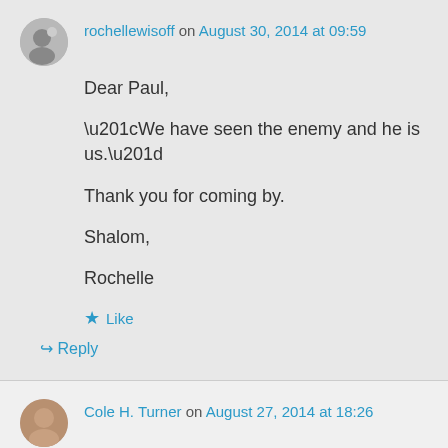rochellewisoff on August 30, 2014 at 09:59
Dear Paul,

“We have seen the enemy and he is us.”

Thank you for coming by.

Shalom,

Rochelle
★ Like
↳ Reply
Cole H. Turner on August 27, 2014 at 18:26